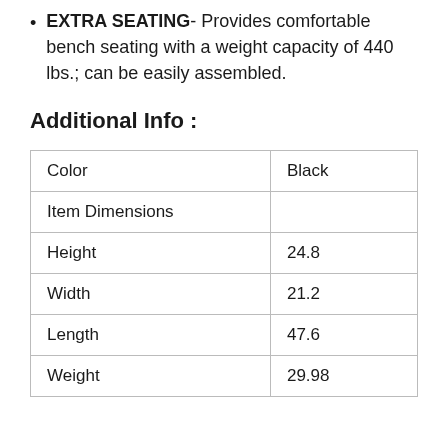EXTRA SEATING- Provides comfortable bench seating with a weight capacity of 440 lbs.; can be easily assembled.
Additional Info :
| Color | Black |
| Item Dimensions |  |
| Height | 24.8 |
| Width | 21.2 |
| Length | 47.6 |
| Weight | 29.98 |